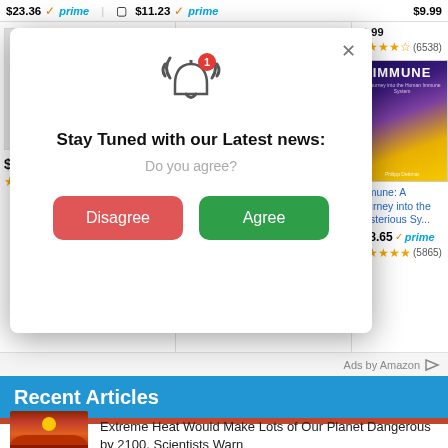$23.36 prime  $11.23 prime  $9.99
[Figure (screenshot): Amazon product listing cards showing books with prices $14.99, $7.99 prime, $18.65 prime, and star ratings. Immune book cover visible on right.]
[Figure (screenshot): Modal popup dialog with bell notification icon, badge showing '1', title 'Stay Tuned with our Latest news:', subtitle 'Do you agree?', red Disagree button and green Agree button, close X button.]
Stay Tuned with our Latest news:
Do you agree?
Disagree
Agree
$14.99  $7.99 prime  $18.65 prime
(20257)  (1)  (5865)
Ads by Amazon
Recent Articles
Extreme Heat Would Make Lots of Our Planet Dangerous by 2100, Scientists Warn